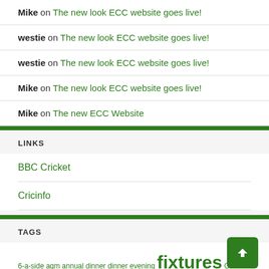Mike on The new look ECC website goes live!
westie on The new look ECC website goes live!
westie on The new look ECC website goes live!
Mike on The new look ECC website goes live!
Mike on The new ECC Website
LINKS
BBC Cricket
Cricinfo
TAGS
6-a-side agm annual dinner dinner evening fixtures Game